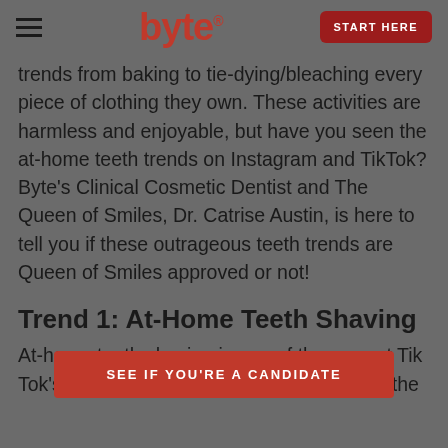byte START HERE
trends from baking to tie-dying/bleaching every piece of clothing they own. These activities are harmless and enjoyable, but have you seen the at-home teeth trends on Instagram and TikTok? Byte's Clinical Cosmetic Dentist and The Queen of Smiles, Dr. Catrise Austin, is here to tell you if these outrageous teeth trends are Queen of Smiles approved or not!
Trend 1: At-Home Teeth Shaving
SEE IF YOU'RE A CANDIDATE
At-home teeth shaving is one of the newest Tik Tok's trends. People who aren't happy with the